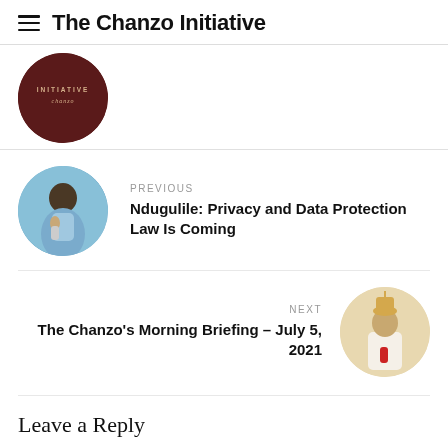The Chanzo Initiative
[Figure (logo): The Chanzo Initiative circular logo with dark maroon background and text]
[Figure (photo): Circular thumbnail photo of a man in a suit speaking into a microphone, blue background]
PREVIOUS
Ndugulile: Privacy and Data Protection Law Is Coming
NEXT
The Chanzo’s Morning Briefing – July 5, 2021
[Figure (photo): Circular thumbnail photo of a man in white religious/ceremonial attire with a hat and microphone]
Leave a Reply